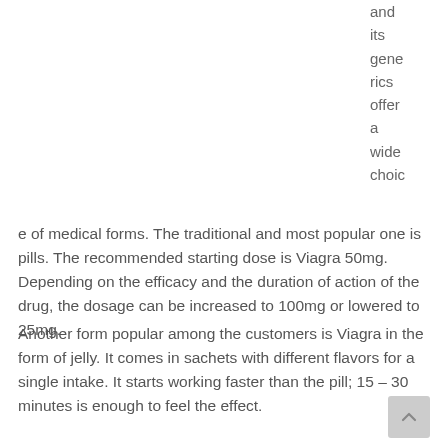and its generics offer a wide choice of medical forms. The traditional and most popular one is pills. The recommended starting dose is Viagra 50mg. Depending on the efficacy and the duration of action of the drug, the dosage can be increased to 100mg or lowered to 25mg.
Another form popular among the customers is Viagra in the form of jelly. It comes in sachets with different flavors for a single intake. It starts working faster than the pill; 15 – 30 minutes is enough to feel the effect.